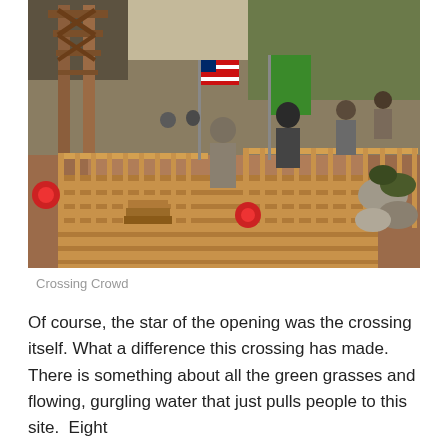[Figure (photo): Outdoor photograph of people walking across a newly built wooden bridge with railings and red ribbon decorations. An American flag and a green flag are visible. A wooden tower structure is in the background left. Rocky terrain and trees surround the scene.]
Crossing Crowd
Of course, the star of the opening was the crossing itself. What a difference this crossing has made.  There is something about all the green grasses and flowing, gurgling water that just pulls people to this site.  Eight